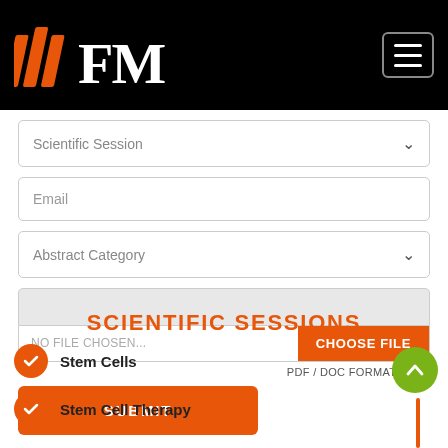FM logo and navigation header
Scientific Session (dropdown)
Email (text input)
Abstract Category (dropdown)
File upload area (disabled field + NO FILE CHOSEN... / CHOOSE FILE button)
PDF / DOC FORMAT ONLY
SUBMIT
SCIENTIFIC SESSIONS
Stem Cells
Stem Cell Therapy